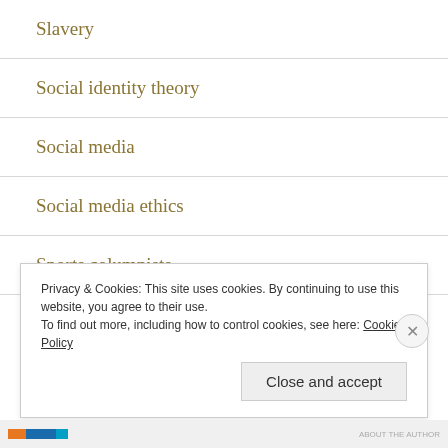Slavery
Social identity theory
Social media
Social media ethics
Sports columnists
Sports history
Privacy & Cookies: This site uses cookies. By continuing to use this website, you agree to their use.
To find out more, including how to control cookies, see here: Cookie Policy